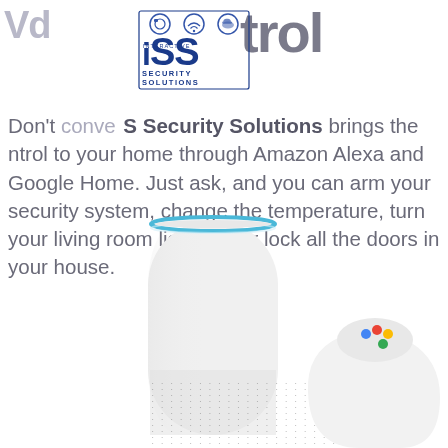trol
[Figure (logo): ISS Interactive Security Solutions logo with icons for camera, wifi, and cloud above bold 'iSS' text and 'SECURITY SOLUTIONS' below]
Don't conve... S Security Solutions brings the ntrol to your home through Amazon Alexa and Google Home. Just ask, and you can arm your security system, change the temperature, turn your living room lights off or lock all the doors in your house.
[Figure (photo): Amazon Echo (tall white cylindrical smart speaker with blue ring on top and speaker mesh at bottom) on the left, and Google Home (short white conical smart speaker with colorful dots on top) partially visible on the right]